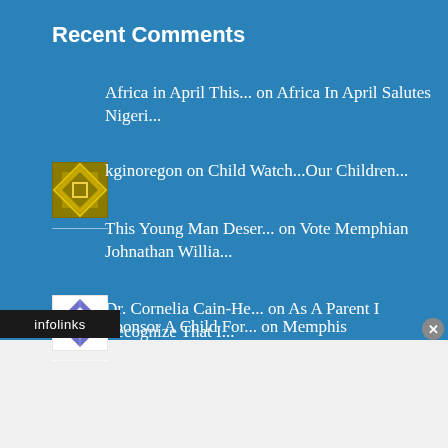Recent Comments
Africa in April This... on Africa In April Salutes Nigeri...
kginoregon on Child Watch...Our Children...
This Young Man Deser... on Vote Memphian Johnathan Willia...
Dr. Cornelia Cain-He... on As A Parent I Recognize That I...
Sponsor A Child For... on Memphis
[Figure (illustration): Avatar image for kginoregon - gold/brown colored pixel art pattern]
[Figure (illustration): Avatar image for Dr. Cornelia Cain-He - blue and white diamond quilt pattern]
infolinks